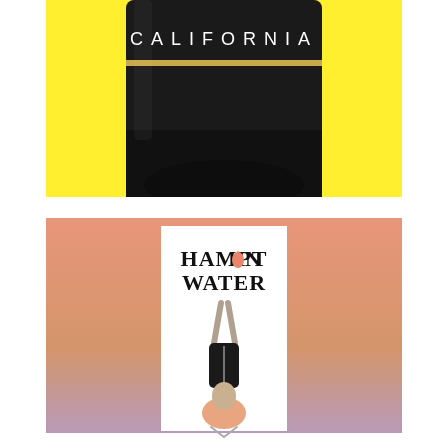[Figure (photo): Close-up of a dark bottle with 'CALIFORNIA' text in white spaced letters on the label, against a bright yellow background. Bottom portion of the bottle is visible showing what appears to be wine bottle details.]
[Figure (photo): Hampton Water wine label on a bottle. The label shows 'HAMPTON WATER' text in bold black serif font with an orange/salmon water drop replacing the 'O' in Hampton. Below the text is an illustration of a figure doing a headstand wearing a black corset, with legs up in the air. The background is a gradient from peach/salmon to lavender/purple.]